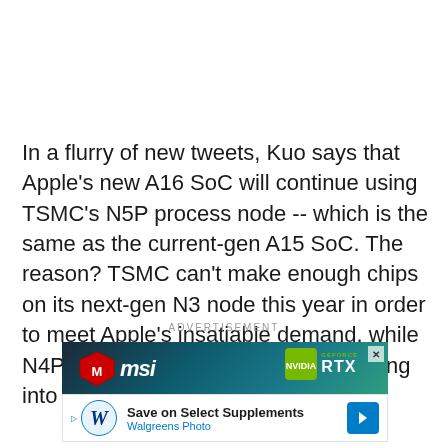In a flurry of new tweets, Kuo says that Apple's new A16 SoC will continue using TSMC's N5P process node -- which is the same as the current-gen A15 SoC. The reason? TSMC can't make enough chips on its next-gen N3 node this year in order to meet Apple's insatiable demand, while N4P is an improved variant of N5, going into mass production later this year.
ADVERTISEMENT
[Figure (screenshot): MSI advertisement banner showing MSI logo on dark teal/gaming background with NVIDIA GeForce RTX branding on the right and a close button. Below is a Walgreens Photo ad with W logo, text 'Save on Select Supplements / Walgreens Photo' and a blue arrow button.]